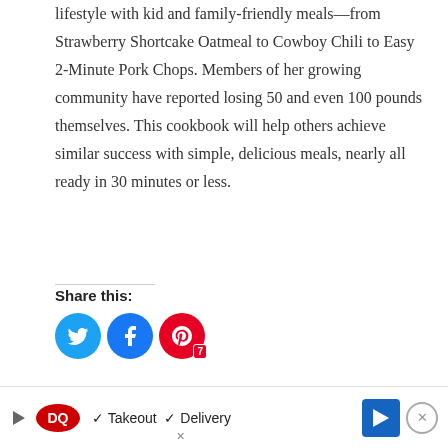lifestyle with kid and family-friendly meals—from Strawberry Shortcake Oatmeal to Cowboy Chili to Easy 2-Minute Pork Chops. Members of her growing community have reported losing 50 and even 100 pounds themselves. This cookbook will help others achieve similar success with simple, delicious meals, nearly all ready in 30 minutes or less.
Share this:
[Figure (other): Three social share buttons: Twitter (blue circle with bird icon), Facebook (blue circle with f icon), Pinterest (red circle with P icon and badge showing 7)]
Related
[Figure (other): Two partially visible thumbnail images for related content, one with text ABDOMINOPLASTY]
[Figure (other): Dairy Queen advertisement banner with DQ logo, checkmarks for Takeout and Delivery, and a blue arrow navigation icon]